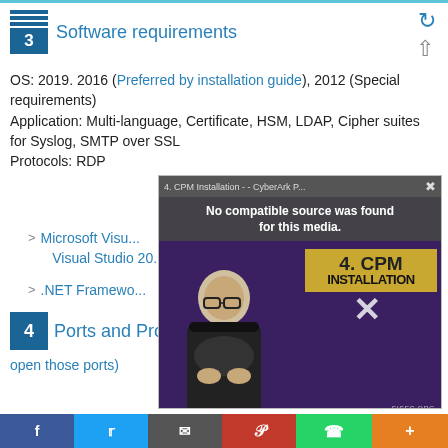3 Software requirements
OS: 2019. 2016 (Preferred by installation guide), 2012 (Special requirements)
Application: Multi-language, Certificate, HSM, LDAP, Cipher suites for Syslog, SMTP over SSL
Protocols: RDP
Microsoft Visual Studio ... Visual Studio 20...
.NET Framewo...
[Figure (screenshot): Video overlay showing '4. CPM Installation - - CyberArk P...' with message 'No compatible source was found for this media.' over a purple background with a person and yellow CPM INSTALLATION text graphic.]
4 Ports and Proto... open those ports)